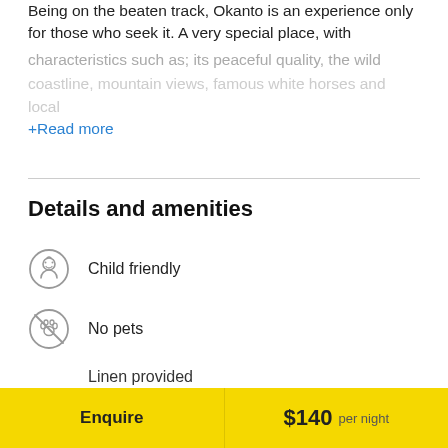Being on the beaten track, Okanto is an experience only for those who seek it. A very special place, with characteristics such as; its peaceful quality, the wild coastline, mountain views, famous white horses and local
+Read more
Details and amenities
Child friendly
No pets
Linen provided
Smoking outside only
Enquire   $140 per night